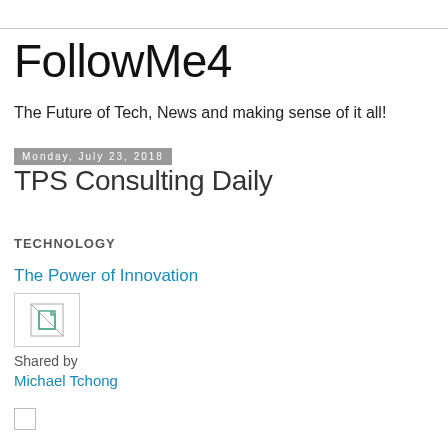FollowMe4
The Future of Tech, News and making sense of it all!
Monday, July 23, 2018
TPS Consulting Daily
TECHNOLOGY
The Power of Innovation
[Figure (photo): Broken image placeholder thumbnail]
Shared by
Michael Tchong